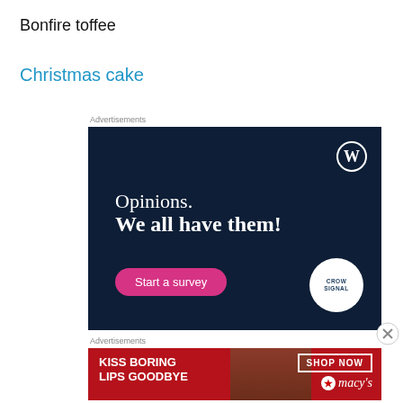Bonfire toffee
Christmas cake
Advertisements
[Figure (screenshot): Dark blue advertisement for Crowdsignal/WordPress showing text 'Opinions. We all have them!' with a pink 'Start a survey' button, WordPress logo top right, and Crowdsignal logo bottom right.]
Advertisements
[Figure (screenshot): Macy's advertisement with red background showing 'KISS BORING LIPS GOODBYE' text, a model's face, 'SHOP NOW' box, and Macy's star logo.]